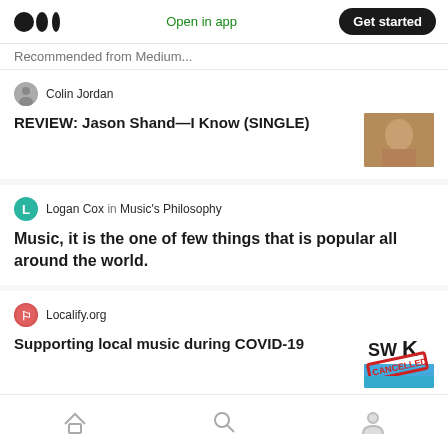Medium logo | Open in app | Get started
Recommended from Medium
Colin Jordan
REVIEW: Jason Shand—I Know (SINGLE)
Logan Cox in Music's Philosophy
Music, it is the one of few things that is popular all around the world.
Localify.org
Supporting local music during COVID-19
Colin Jordan